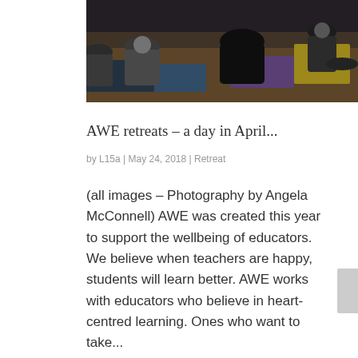[Figure (photo): Group of people sitting on yoga mats on a wooden floor in a studio setting, viewed from behind, with some yoga mats visible in purple and yellow colors.]
AWE retreats – a day in April...
by L15a | May 24, 2018 | Retreat
(all images – Photography by Angela McConnell) AWE was created this year to support the wellbeing of educators. We believe when teachers are happy, students will learn better. AWE works with educators who believe in heart-centred learning. Ones who want to take...